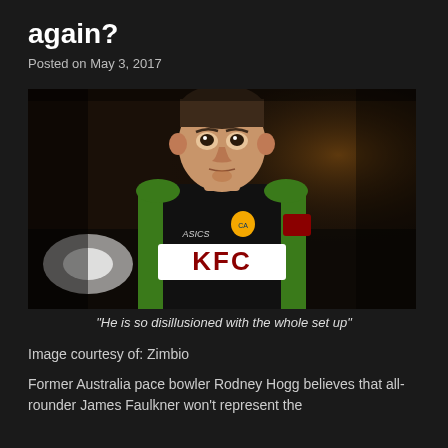again?
Posted on May 3, 2017
[Figure (photo): Cricket player in black and green Australian T20 kit with KFC sponsor logo, looking upward, photographed in stadium setting.]
"He is so disillusioned with the whole set up"
Image courtesy of: Zimbio
Former Australia pace bowler Rodney Hogg believes that all-rounder James Faulkner won't represent the